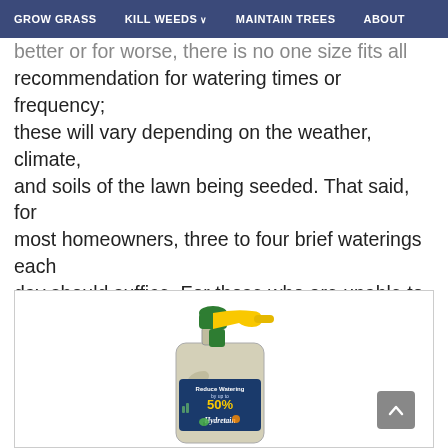GROW GRASS | KILL WEEDS | MAINTAIN TREES | ABOUT
better or for worse, there is no one size fits all recommendation for watering times or frequency; these will vary depending on the weather, climate, and soils of the lawn being seeded. That said, for most homeowners, three to four brief waterings each day should suffice. For those who are unable to meet these watering requirements, a hygroscopic product can be applied to help ensure seed does not dry out.
[Figure (photo): A bottle of Hydretain hygroscopic lawn product with yellow hose-end sprayer attachment. The label reads 'Reduce Watering by up to 50%' with images of grass and fruit. The product name 'Hydretain' is visible at the bottom of the label.]